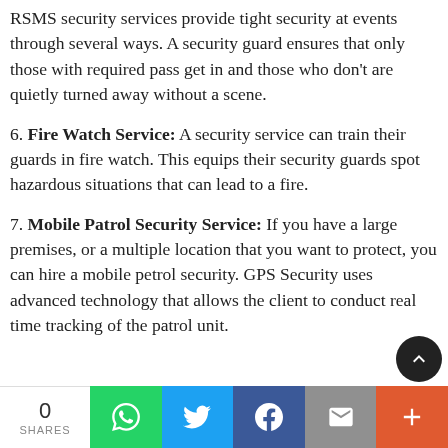RSMS security services provide tight security at events through several ways. A security guard ensures that only those with required pass get in and those who don't are quietly turned away without a scene.
6. Fire Watch Service: A security service can train their guards in fire watch. This equips their security guards spot hazardous situations that can lead to a fire.
7. Mobile Patrol Security Service: If you have a large premises, or a multiple location that you want to protect, you can hire a mobile petrol security. GPS Security uses advanced technology that allows the client to conduct real time tracking of the patrol unit.
0 SHARES [Share bar with WhatsApp, Twitter, Facebook, Email, More buttons]